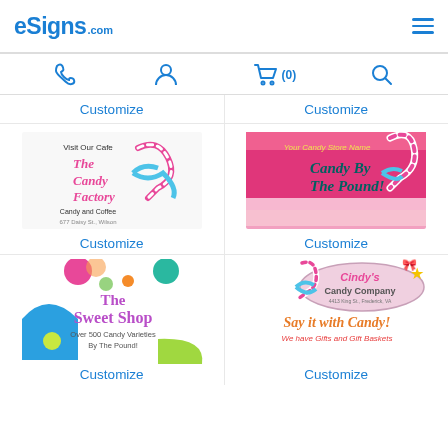eSigns.com
[Figure (screenshot): Navigation icon bar with phone, user, shopping cart (0), and search icons]
Customize
Customize
[Figure (illustration): The Candy Factory sign template - Visit Our Cafe, The Candy Factory, Candy and Coffee, 677 Daisy St., Wilson]
Customize
[Figure (illustration): Candy By The Pound sign template - Your Candy Store Name, Candy By The Pound!]
Customize
[Figure (illustration): The Sweet Shop sign template - Over 500 Candy Varieties By The Pound!]
Customize
[Figure (illustration): Cindy's Candy Company sign template - Say it with Candy! We have Gifts and Gift Baskets]
Customize